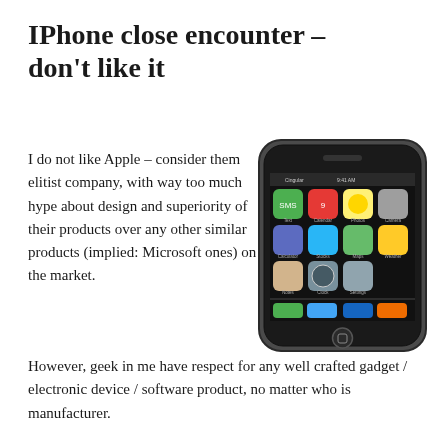IPhone close encounter – don't like it
I do not like Apple – consider them elitist company, with way too much hype about design and superiority of their products over any other similar products (implied: Microsoft ones) on the market.
[Figure (photo): Photo of an Apple iPhone (first generation) showing the home screen with app icons including SMS, Calendar, Photos, Camera, Calculator, Stocks, Maps, Weather, Notes, Clock, Settings, and dock with Phone, Mail, Safari, iPod buttons.]
However, geek in me have respect for any well crafted gadget / electronic device / software product, no matter who is manufacturer.